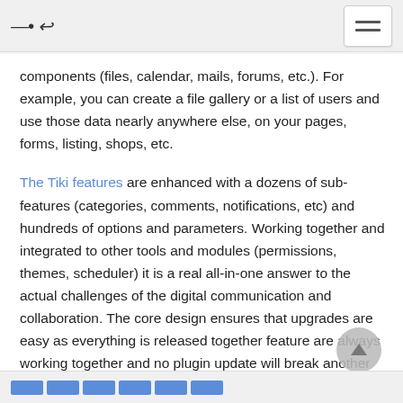~ (logo) [hamburger menu]
components (files, calendar, mails, forums, etc.). For example, you can create a file gallery or a list of users and use those data nearly anywhere else, on your pages, forms, listing, shops, etc.
The Tiki features are enhanced with a dozens of sub-features (categories, comments, notifications, etc) and hundreds of options and parameters. Working together and integrated to other tools and modules (permissions, themes, scheduler) it is a real all-in-one answer to the actual challenges of the digital communication and collaboration. The core design ensures that upgrades are easy as everything is released together feature are always working together and no plugin update will break another plugin.
[navigation bar]